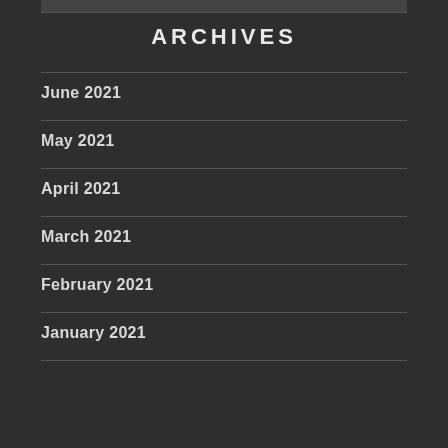ARCHIVES
June 2021
May 2021
April 2021
March 2021
February 2021
January 2021